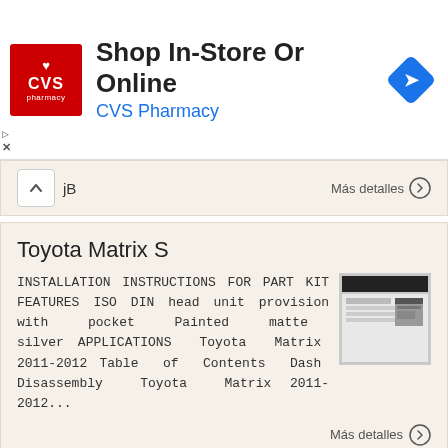[Figure (logo): CVS Pharmacy advertisement banner with logo, 'Shop In-Store Or Online' text and navigation icon]
jB
Más detalles →
Toyota Matrix S
INSTALLATION INSTRUCTIONS FOR PART KIT FEATURES ISO DIN head unit provision with pocket Painted matte silver APPLICATIONS Toyota Matrix 2011-2012 Table of Contents Dash Disassembly Toyota Matrix 2011-2012...
[Figure (photo): Thumbnail image of installation instructions document]
Más detalles →
Nissan Titan 2004-up (base model only)